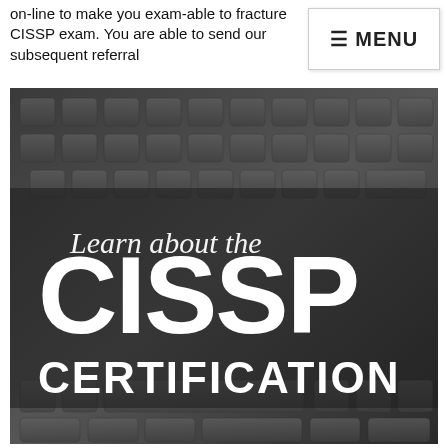on-line to make you exam-able to fracture CISSP exam. You are able to send our subsequent referral
≡ MENU
[Figure (photo): Black and white photo of a laptop keyboard with overlaid text reading 'Learn about the CISSP CERTIFICATION' in white serif and bold sans-serif fonts on a dark background.]